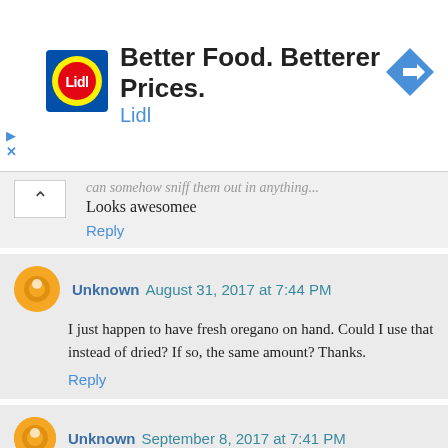[Figure (screenshot): Lidl advertisement banner with Lidl logo, text 'Better Food. Betterer Prices.' and 'Lidl', and a blue navigation arrow icon on the right.]
can somehow sniff them out in anything...
Looks awesomee
Reply
Unknown August 31, 2017 at 7:44 PM
I just happen to have fresh oregano on hand. Could I use that instead of dried? If so, the same amount? Thanks.
Reply
Unknown September 8, 2017 at 7:41 PM